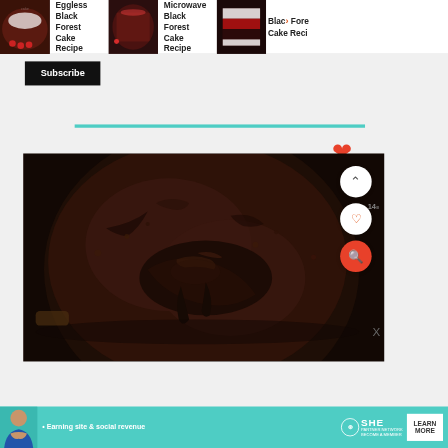[Figure (screenshot): Website screenshot showing recipe navigation thumbnails at top: 'Eggless Black Forest Cake Recipe', 'Microwave Black Forest Cake Recipe', and partially visible 'Black Forest Cake Reci...' with cake images. Below is a Subscribe button, a teal progress bar, a large red heart icon, and a close-up photo of a chocolate mug cake with glossy ganache topping. UI buttons include up-arrow circle, heart circle, and orange search circle. Bottom has a SHE Partner Network advertisement banner with teal background.]